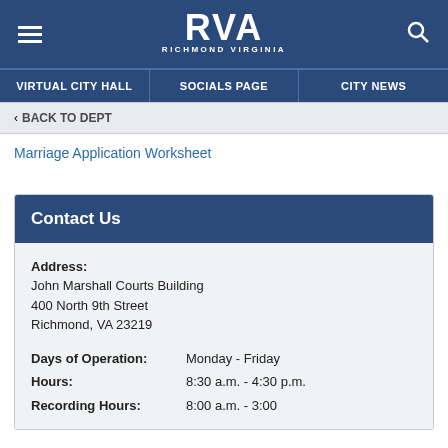[Figure (logo): RVA Richmond Virginia city logo in white on dark blue header with hamburger menu icon on left and search icon on right]
VIRTUAL CITY HALL | SOCIALS PAGE | CITY NEWS
< BACK TO DEPT
Marriage Application Worksheet
Contact Us
Address:
John Marshall Courts Building
400 North 9th Street
Richmond, VA 23219
Days of Operation:    Monday - Friday
Hours:    8:30 a.m. - 4:30 p.m.
Recording Hours:    8:00 a.m. - 3:00